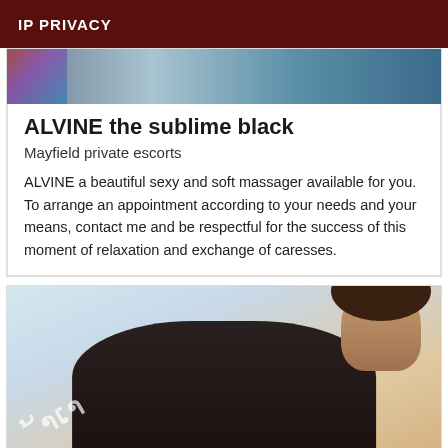IP PRIVACY
[Figure (photo): Top portion of a photo with blurred background showing colors of blue and red/flag elements]
ALVINE the sublime black
Mayfield private escorts
ALVINE a beautiful sexy and soft massager available for you. To arrange an appointment according to your needs and your means, contact me and be respectful for the success of this moment of relaxation and exchange of caresses.
[Figure (photo): Photo of a woman with dark curly hair wearing a black top, leaning forward, with a watermark overlay, outdoor setting with light sky background]